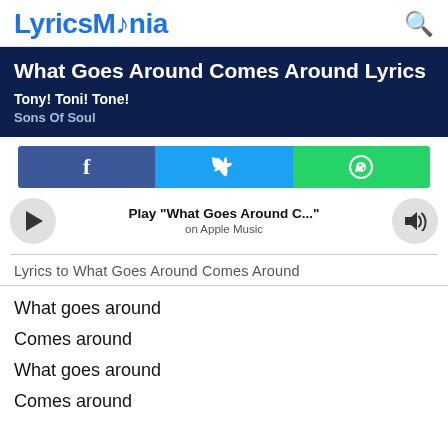LyricsMania
What Goes Around Comes Around Lyrics
Tony! Toni! Tone!
Sons Of Soul
[Figure (screenshot): Social share buttons: Facebook (blue), Twitter (cyan), WhatsApp (green)]
[Figure (screenshot): Apple Music player bar: play button, 'Play "What Goes Around C..."', on Apple Music, volume button]
Lyrics to What Goes Around Comes Around
What goes around
Comes around
What goes around
Comes around